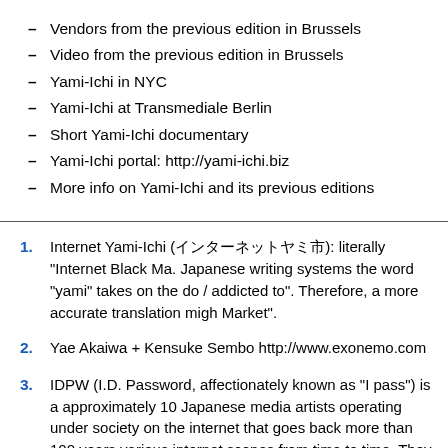Vendors from the previous edition in Brussels
Video from the previous edition in Brussels
Yami-Ichi in NYC
Yami-Ichi at Transmediale Berlin
Short Yami-Ichi documentary
Yami-Ichi portal: http://yami-ichi.biz
More info on Yami-Ichi and its previous editions
1. Internet Yami-Ichi (インターネットヤミ市): literally "Internet Black Market". In Japanese writing systems the word "yami" takes on the double meaning of "dark / addicted to". Therefore, a more accurate translation might be "Internet Dark Market".
2. Yae Akaiwa + Kensuke Sembo http://www.exonemo.com
3. IDPW (I.D. Password, affectionately known as "I pass") is a group of approximately 10 Japanese media artists operating under the concept of a secret society on the internet that goes back more than 100 years. They are known for various internet scenes from time to time.